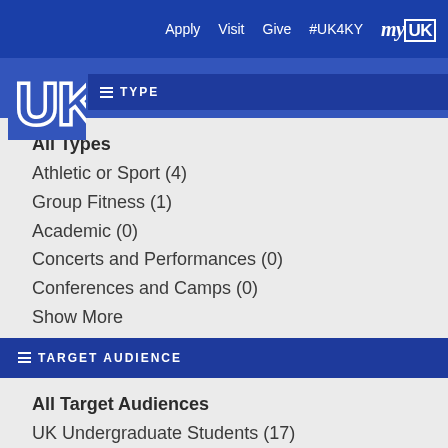Apply  Visit  Give  #UK4KY  myUK
[Figure (logo): University of Kentucky UK logo in white on blue background]
TYPE
All Types
Athletic or Sport (4)
Group Fitness (1)
Academic (0)
Concerts and Performances (0)
Conferences and Camps (0)
Show More
TARGET AUDIENCE
All Target Audiences
UK Undergraduate Students (17)
UK Graduate Students (14)
UK Faculty and Staff (9)